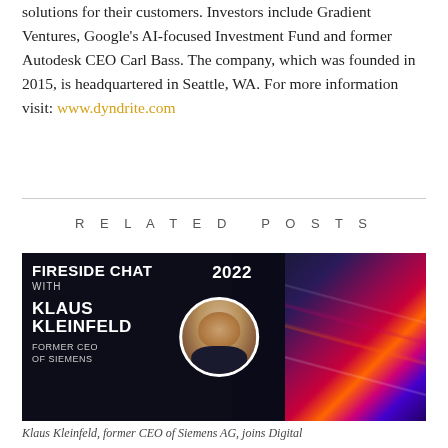solutions for their customers. Investors include Gradient Ventures, Google's AI-focused Investment Fund and former Autodesk CEO Carl Bass. The company, which was founded in 2015, is headquartered in Seattle, WA. For more information visit: www.dyndrite.com
RELATED POSTS
[Figure (photo): Fireside Chat 2022 promotional banner featuring Klaus Kleinfeld, Former CEO of Siemens, with a circular portrait photo, dark background on left, colorful light streaks on right, BNP Paribas logo, and event date March 2, 2022.]
Klaus Kleinfeld, former CEO of Siemens AG, joins Digital